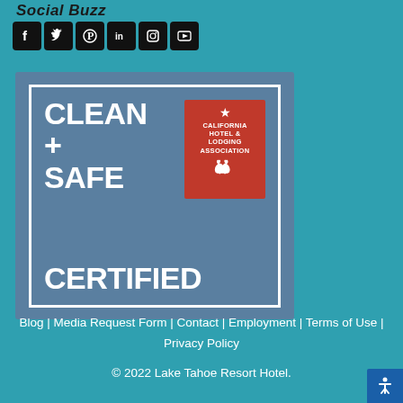Social Buzz
[Figure (infographic): Social media icons: Facebook, Twitter, Pinterest, LinkedIn, Instagram, YouTube]
[Figure (logo): Clean + Safe Certified badge with California Hotel & Lodging Association logo]
Blog | Media Request Form | Contact | Employment | Terms of Use | Privacy Policy
© 2022 Lake Tahoe Resort Hotel.